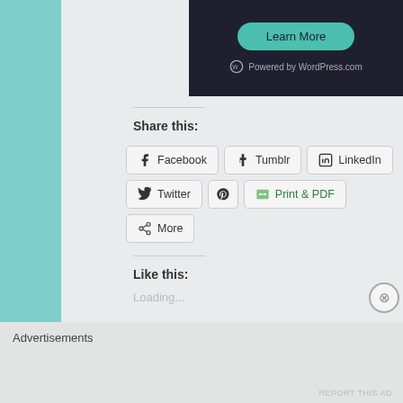[Figure (screenshot): Dark panel with 'Learn More' green button and 'Powered by WordPress.com' logo text]
Share this:
[Figure (infographic): Social share buttons: Facebook, Tumblr, LinkedIn, Twitter, Pinterest (partial), Print & PDF, More]
Like this:
Loading...
Advertisements
REPORT THIS AD